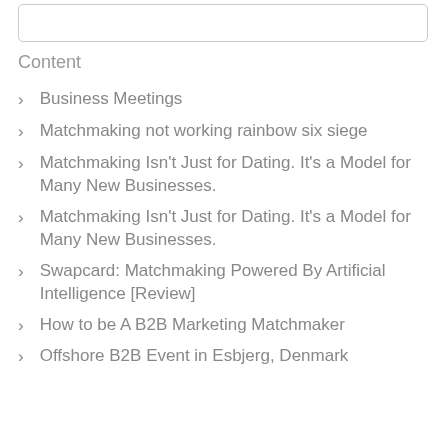[Figure (other): Empty rounded rectangle input/search box at the top of the page]
Content
Business Meetings
Matchmaking not working rainbow six siege
Matchmaking Isn’t Just for Dating. It’s a Model for Many New Businesses.
Matchmaking Isn’t Just for Dating. It’s a Model for Many New Businesses.
Swapcard: Matchmaking Powered By Artificial Intelligence [Review]
How to be A B2B Marketing Matchmaker
Offshore B2B Event in Esbjerg, Denmark